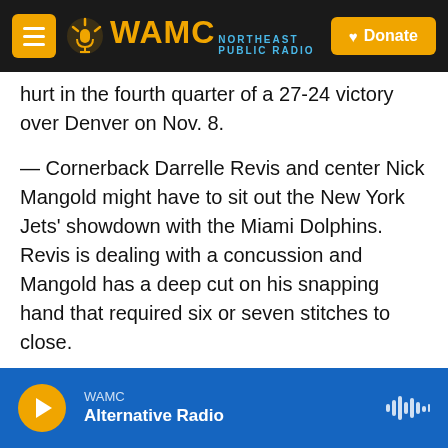WAMC Northeast Public Radio | Donate
hurt in the fourth quarter of a 27-24 victory over Denver on Nov. 8.
— Cornerback Darrelle Revis and center Nick Mangold might have to sit out the New York Jets' showdown with the Miami Dolphins. Revis is dealing with a concussion and Mangold has a deep cut on his snapping hand that required six or seven stitches to close.
— The Washington Redskins could become the first team to play two NFL games in London in the same season, and in consecutive weeks. The Redskins
WAMC — Alternative Radio